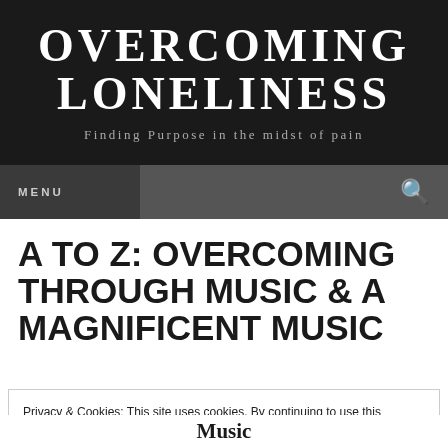OVERCOMING LONELINESS
Finding Purpose in the midst of pain
MENU
A TO Z: OVERCOMING THROUGH MUSIC & A MAGNIFICENT MUSIC
Privacy & Cookies: This site uses cookies. By continuing to use this website, you agree to their use.
To find out more, including how to control cookies, see here: Cookie Policy
Close and accept
Music